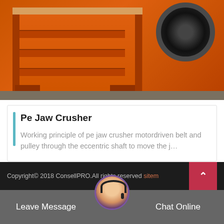[Figure (photo): Orange industrial jaw crusher machine with large black flywheel/pulley visible on the right side, orange frame with shelving structure, on a concrete floor]
Pe Jaw Crusher
Working principle of pe jaw crusher motordriven belt and pulley through the eccentric shaft to move the j…
Copyright© 2018 ConsellPRO.All rights reserved sitemap
Leave Message
Chat Online